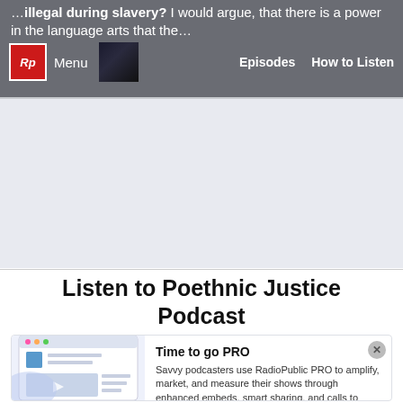…illegal during slavery? I would argue, that there is a power in the language arts that the…
[Figure (screenshot): RadioPublic navigation bar with logo (Rp), Menu label, podcast thumbnail, Episodes and How to Listen links]
[Figure (illustration): Gray banner/advertisement area]
Listen to Poethnic Justice Podcast
[Figure (illustration): RadioPublic PRO promotional card with podcast interface illustration on the left side]
Time to go PRO
Savvy podcasters use RadioPublic PRO to amplify, market, and measure their shows through enhanced embeds, smart sharing, and calls to action that convert.
Get started